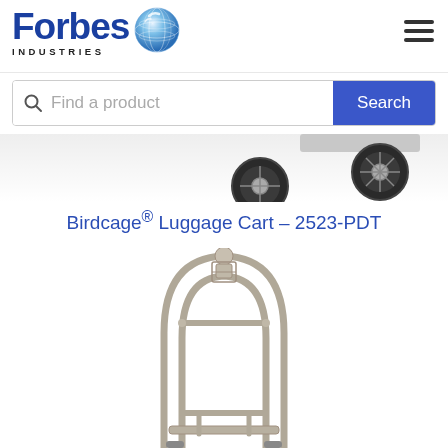[Figure (logo): Forbes Industries logo with globe graphic]
[Figure (other): Hamburger menu icon (three horizontal lines)]
[Figure (other): Search bar with magnifying glass icon and blue Search button]
[Figure (photo): Partial view of luggage cart wheels at top of page]
Birdcage® Luggage Cart – 2523-PDT
[Figure (photo): Birdcage luggage cart product photo showing chrome/stainless steel frame with rounded top bars, horizontal garment rod, and lower shelf bracket]